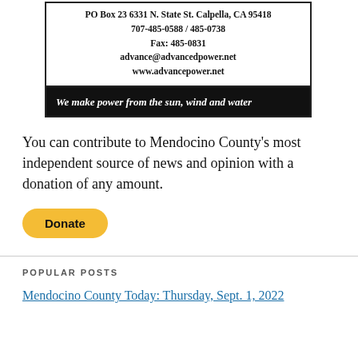[Figure (other): Advertisement for POWER, Inc. showing address PO Box 23 6331 N. State St. Calpella, CA 95418, phone 707-485-0588 / 485-0738, Fax: 485-0831, email advance@advancedpower.net, website www.advancepower.net, tagline: We make power from the sun, wind and water]
You can contribute to Mendocino County's most independent source of news and opinion with a donation of any amount.
[Figure (other): PayPal Donate button (yellow rounded rectangle)]
POPULAR POSTS
Mendocino County Today: Thursday, Sept. 1, 2022